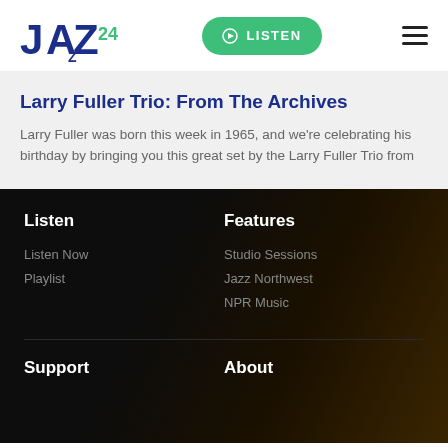[Figure (logo): Jazz24 logo in dark blue with green 24]
[Figure (other): Green LISTEN button with play icon]
[Figure (other): Hamburger menu icon (three horizontal bars)]
Larry Fuller Trio: From The Archives
Larry Fuller was born this week in 1965, and we're celebrating his birthday by bringing you this great set by the Larry Fuller Trio from
Listen
Features
Listen Now
Playlist
Studio Sessions
Jazz Northwest
NPR Music
Support
About